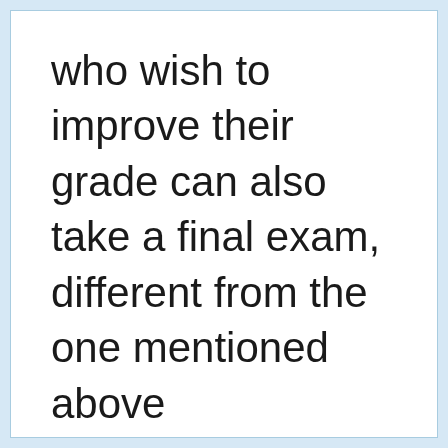who wish to improve their grade can also take a final exam, different from the one mentioned above